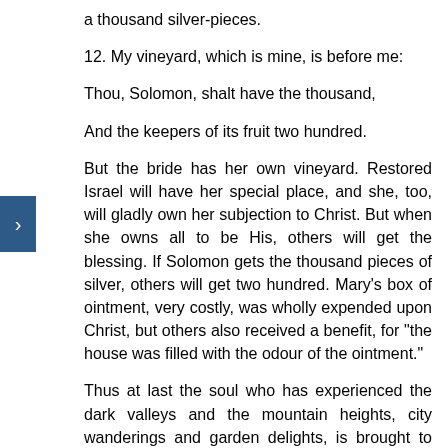a thousand silver-pieces.
12. My vineyard, which is mine, is before me:
Thou, Solomon, shalt have the thousand,
And the keepers of its fruit two hundred.
But the bride has her own vineyard. Restored Israel will have her special place, and she, too, will gladly own her subjection to Christ. But when she owns all to be His, others will get the blessing. If Solomon gets the thousand pieces of silver, others will get two hundred. Mary's box of ointment, very costly, was wholly expended upon Christ, but others also received a benefit, for "the house was filled with the odour of the ointment."
Thus at last the soul who has experienced the dark valleys and the mountain heights, city wanderings and garden delights, is brought to rest in the eternal love of Christ (ver. 5); in all its breadth, and length, and depth, and height (6, 7); to think of others (8, 9); to gladly own that Christ will have universal sway (10, 11); and in the